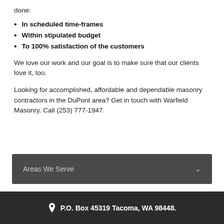done:
In scheduled time-frames
Within stipulated budget
To 100% satisfaction of the customers
We love our work and our goal is to make sure that our clients love it, too.
Looking for accomplished, affordable and dependable masonry contractors in the DuPont area? Get in touch with Warfield Masonry. Call (253) 777-1947.
Areas We Serve
P.O. Box 45319 Tacoma, WA 98448.